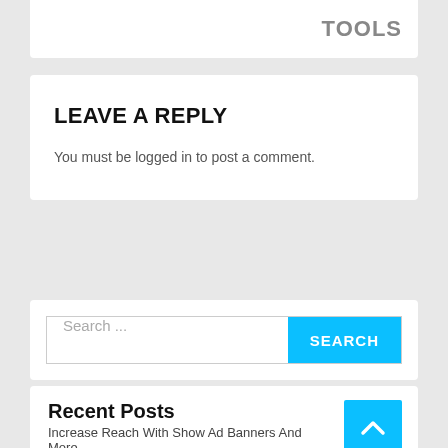TOOLS
LEAVE A REPLY
You must be logged in to post a comment.
Search ...
Recent Posts
Increase Reach With Show Ad Banners And More